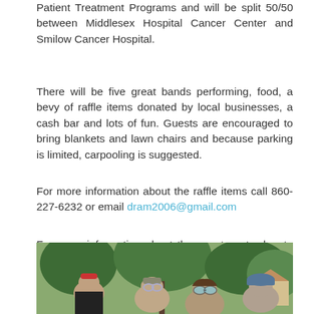Patient Treatment Programs and will be split 50/50 between Middlesex Hospital Cancer Center and Smilow Cancer Hospital.
There will be five great bands performing, food, a bevy of raffle items donated by local businesses, a cash bar and lots of fun. Guests are encouraged to bring blankets and lawn chairs and because parking is limited, carpooling is suggested.
For more information about the raffle items call 860-227-6232 or email dram2006@gmail.com
For more information about the event, or to donate go to Boobstock.
[Figure (photo): Outdoor photo showing several people wearing hats and sunglasses at what appears to be an outdoor event, with trees in the background.]